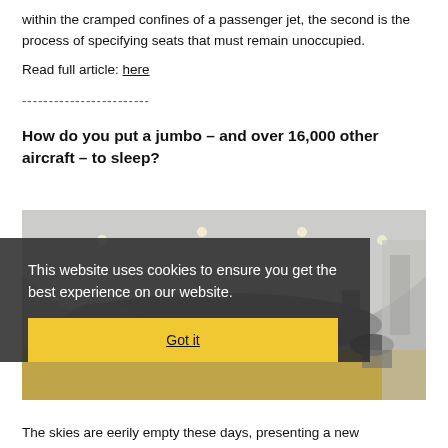within the cramped confines of a passenger jet, the second is the process of specifying seats that must remain unoccupied.
Read full article: here
------------------------
How do you put a jumbo – and over 16,000 other aircraft – to sleep?
[Figure (photo): A large aircraft parked inside an aircraft hangar, viewed from the front. The hangar has a curved white ceiling with lights. The plane appears to be a wide-body jet. The image is partially obscured by a cookie consent overlay.]
This website uses cookies to ensure you get the best experience on our website.
Got it
The skies are eerily empty these days, presenting a new